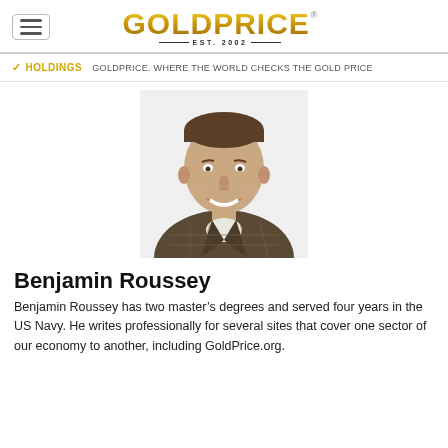GOLDPRICE® EST. 2002
HOLDINGS  GOLDPRICE. WHERE THE WORLD CHECKS THE GOLD PRICE
[Figure (photo): Headshot of Benjamin Roussey, a man in a brown plaid shirt, smiling, on a white background.]
Benjamin Roussey
Benjamin Roussey has two master's degrees and served four years in the US Navy. He writes professionally for several sites that cover one sector of our economy to another, including GoldPrice.org.